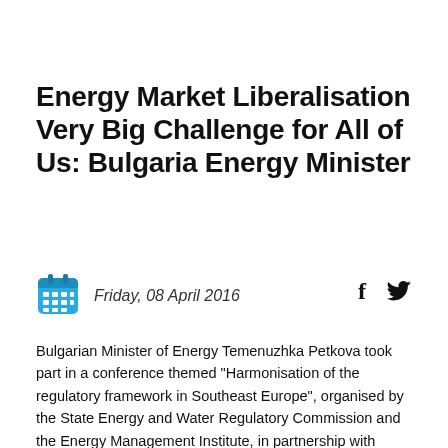Energy Market Liberalisation Very Big Challenge for All of Us: Bulgaria Energy Minister
Friday, 08 April 2016
Bulgarian Minister of Energy Temenuzhka Petkova took part in a conference themed "Harmonisation of the regulatory framework in Southeast Europe", organised by the State Energy and Water Regulatory Commission and the Energy Management Institute, in partnership with Eurelectric.
The forum was held in the Bulgarian capital city Sofia on Thursday, FOCUS News Agency reported.
“We will not take any actions towards full liberalisation of the